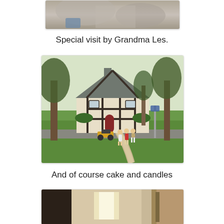[Figure (photo): Partial photo cropped at top of page, showing what appears to be an animal or fabric texture in gray tones]
Special visit by Grandma Les.
[Figure (photo): Outdoor photo of a Tudor-style house with tall trees, green lawn, curved walkway, and children standing near a motorcycle in the driveway]
And of course cake and candles
[Figure (photo): Partial photo at bottom of page showing interior of a room with a door and light coming through]